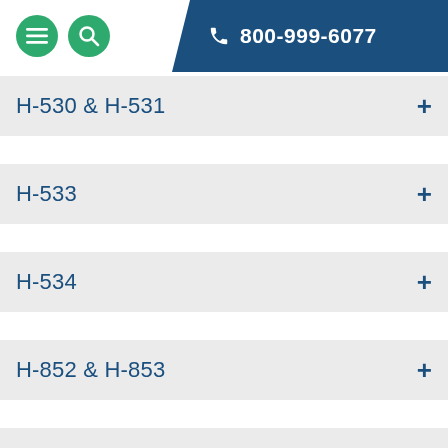800-999-6077
H-530 & H-531
H-533
H-534
H-852 & H-853
H-860 & H-861
HLT-48